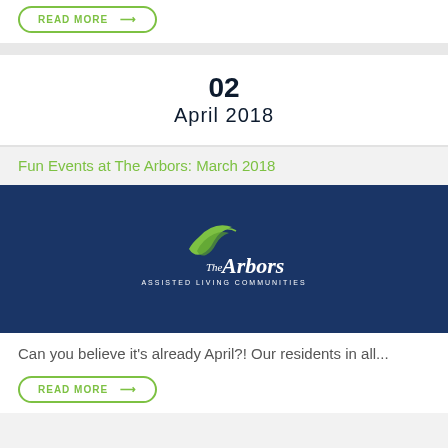READ MORE →
02
April 2018
Fun Events at The Arbors: March 2018
[Figure (logo): The Arbors Assisted Living Communities logo on dark navy blue background]
Can you believe it's already April?! Our residents in all...
READ MORE →